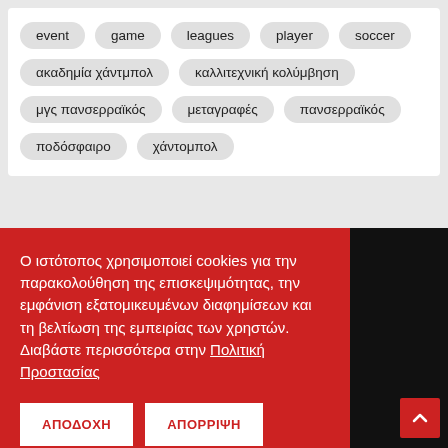event
game
leagues
player
soccer
ακαδημία χάντμπολ
καλλιτεχνική κολύμβηση
μγς πανσερραϊκός
μεταγραφές
πανσερραϊκός
ποδόσφαιρο
χάντομπολ
Ο ιστότοπος χρησιμοποιεί cookies για την παρακολούθηση της επισκεψιμότητας, την εμφάνιση εξατομικευμένων διαφημίσεων και τη βελτίωση της εμπειρίας των χρηστών. Διαβάστε περισσότερα στην Πολιτική Προστασίας
ΑΠΟΔΟΧΗ
ΑΠΟΡΡΙΨΗ